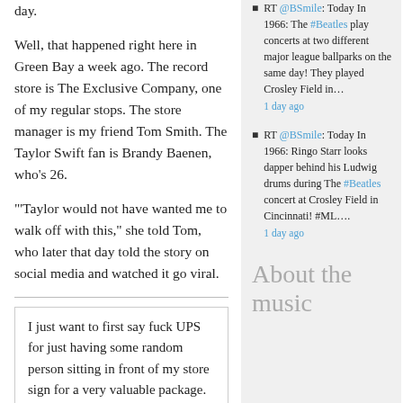day.
Well, that happened right here in Green Bay a week ago. The record store is The Exclusive Company, one of my regular stops. The store manager is my friend Tom Smith. The Taylor Swift fan is Brandy Baenen, who's 26.
"'Taylor would not have wanted me to walk off with this,' she told Tom, who later that day told the story on social media and watched it go viral.
I just want to first say fuck UPS for just having some random person sitting in front of my store sign for a very valuable package. Secondly bless these Taylor Swift fans who knew what the package contained and guarded it for us and then each
RT @BSmile: Today In 1966: The #Beatles play concerts at two different major league ballparks on the same day! They played Crosley Field in… 1 day ago
RT @BSmile: Today In 1966: Ringo Starr looks dapper behind his Ludwig drums during The #Beatles concert at Crosley Field in Cincinnati! #ML…. 1 day ago
About the music